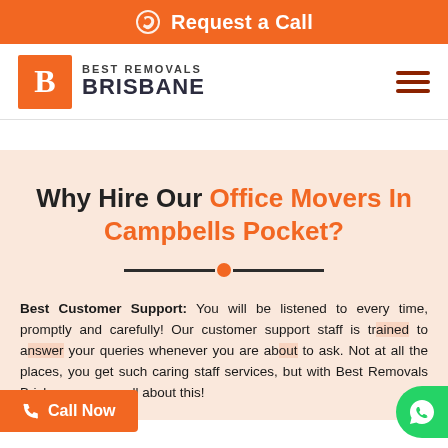Request a Call
[Figure (logo): Best Removals Brisbane logo with orange B box and brand name]
Why Hire Our Office Movers In Campbells Pocket?
Best Customer Support: You will be listened to every time, promptly and carefully! Our customer support staff is trained to answer your queries whenever you are about to ask. Not at all the places, you get such caring staff services, but with Best Removals Brisbane, we are all about this!